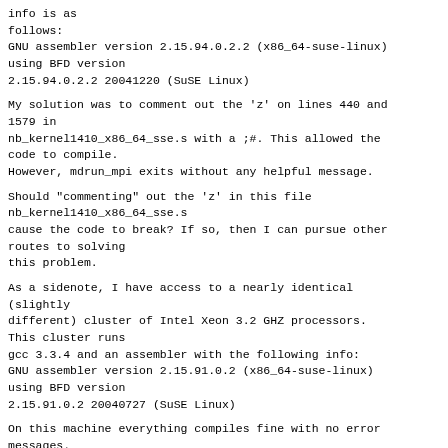info is as
follows:
GNU assembler version 2.15.94.0.2.2 (x86_64-suse-linux)
using BFD version
2.15.94.0.2.2 20041220 (SuSE Linux)
My solution was to comment out the 'z' on lines 440 and
1579 in
nb_kernel1410_x86_64_sse.s with a ;#. This allowed the
code to compile.
However, mdrun_mpi exits without any helpful message.
Should "commenting" out the 'z' in this file
nb_kernel1410_x86_64_sse.s
cause the code to break? If so, then I can pursue other
routes to solving
this problem.
As a sidenote, I have access to a nearly identical
(slightly
different) cluster of Intel Xeon 3.2 GHZ processors.
This cluster runs
gcc 3.3.4 and an assembler with the following info:
GNU assembler version 2.15.91.0.2 (x86_64-suse-linux)
using BFD version
2.15.91.0.2 20040727 (SuSE Linux)
On this machine everything compiles fine with no error
messages.
David